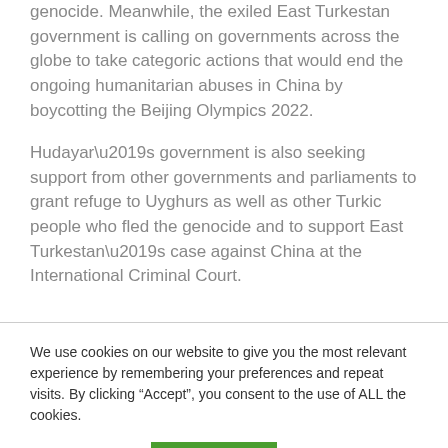genocide. Meanwhile, the exiled East Turkestan government is calling on governments across the globe to take categoric actions that would end the ongoing humanitarian abuses in China by boycotting the Beijing Olympics 2022.
Hudayar’s government is also seeking support from other governments and parliaments to grant refuge to Uyghurs as well as other Turkic people who fled the genocide and to support East Turkestan’s case against China at the International Criminal Court.
We use cookies on our website to give you the most relevant experience by remembering your preferences and repeat visits. By clicking “Accept”, you consent to the use of ALL the cookies.
Cookie settings
ACCEPT